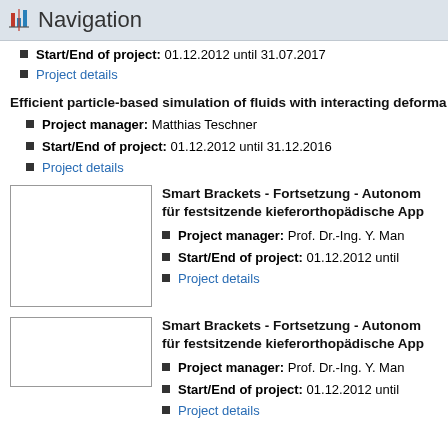Navigation
Start/End of project: 01.12.2012 until 31.07.2017
Project details
Efficient particle-based simulation of fluids with interacting deforma
Project manager: Matthias Teschner
Start/End of project: 01.12.2012 until 31.12.2016
Project details
[Figure (photo): Image placeholder for Smart Brackets project 1]
Smart Brackets - Fortsetzung - Autonom für festsitzende kieferorthopädische App
Project manager: Prof. Dr.-Ing. Y. Man
Start/End of project: 01.12.2012 until
Project details
[Figure (photo): Image placeholder for Smart Brackets project 2]
Smart Brackets - Fortsetzung - Autonom für festsitzende kieferorthopädische App
Project manager: Prof. Dr.-Ing. Y. Man
Start/End of project: 01.12.2012 until
Project details